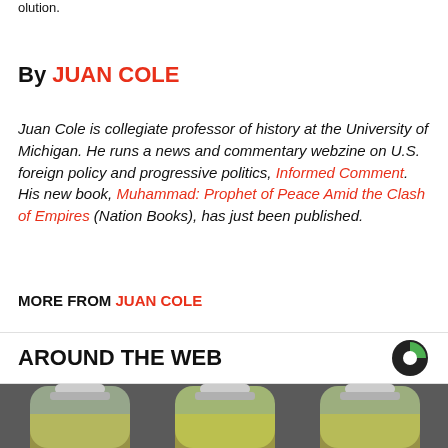olution.
By JUAN COLE
Juan Cole is collegiate professor of history at the University of Michigan. He runs a news and commentary webzine on U.S. foreign policy and progressive politics, Informed Comment. His new book, Muhammad: Prophet of Peace Amid the Clash of Empires (Nation Books), has just been published.
MORE FROM JUAN COLE
AROUND THE WEB
[Figure (photo): Photo of three plastic bottles with yellow-green liquid and lime/lemon, arranged side by side.]